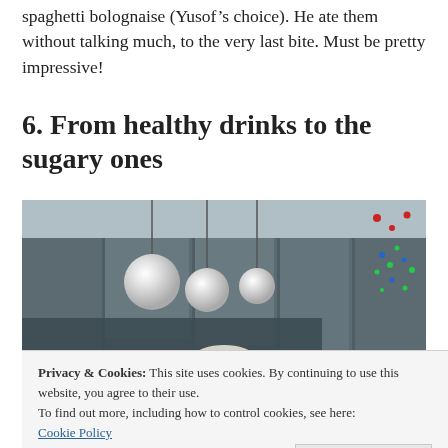spaghetti bolognaise (Yusof’s choice). He ate them without talking much, to the very last bite. Must be pretty impressive!
6. From healthy drinks to the sugary ones
[Figure (photo): Interior of a restaurant or bar with hanging globe pendant lights on the left, dark wood panel walls in the background, and colorful decorative lights (red, blue, green) on the right side. A plate or bowl is partially visible at the bottom center.]
Privacy & Cookies: This site uses cookies. By continuing to use this website, you agree to their use.
To find out more, including how to control cookies, see here:
Cookie Policy
[Figure (photo): Partial view of the bottom of the page showing what appears to be a restaurant table setting with warm tones.]